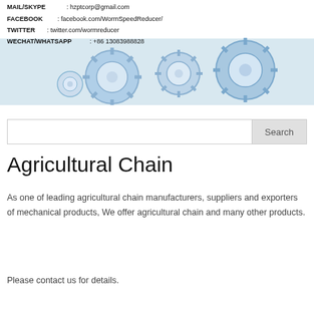[Figure (illustration): Banner with contact information (MAIL/SKYPE, FACEBOOK, TWITTER, WECHAT/WHATSAPP) overlaid on a background of blue industrial gear illustrations]
Search
Agricultural Chain
As one of leading agricultural chain manufacturers, suppliers and exporters of mechanical products, We offer agricultural chain and many other products.
Please contact us for details.